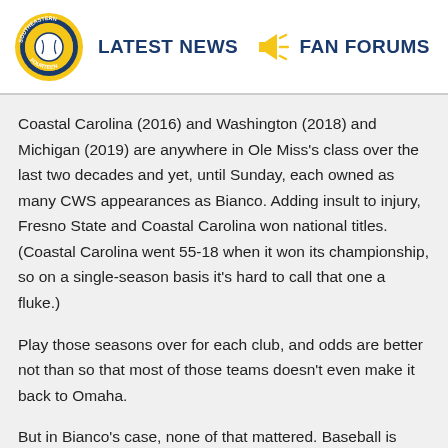LATEST NEWS | FAN FORUMS
Coastal Carolina (2016) and Washington (2018) and Michigan (2019) are anywhere in Ole Miss's class over the last two decades and yet, until Sunday, each owned as many CWS appearances as Bianco. Adding insult to injury, Fresno State and Coastal Carolina won national titles. (Coastal Carolina went 55-18 when it won its championship, so on a single-season basis it's hard to call that one a fluke.)
Play those seasons over for each club, and odds are better not than so that most of those teams doesn't even make it back to Omaha.
But in Bianco's case, none of that mattered. Baseball is